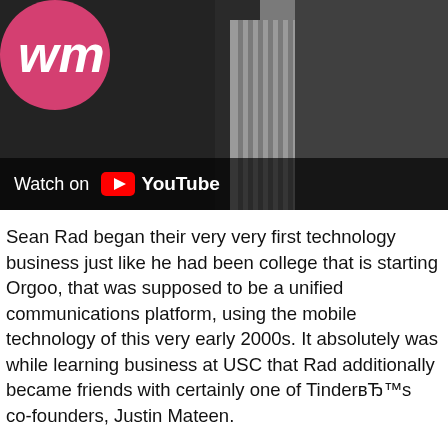[Figure (screenshot): A YouTube video thumbnail showing a man in a dark suit with a striped shirt. The thumbnail has a WM logo (pink/magenta circle with white 'wm' letters) in the top-left corner. A 'Watch on YouTube' bar is overlaid at the bottom of the thumbnail.]
Sean Rad began their very very first technology business just like he had been college that is starting Orgoo, that was supposed to be a unified communications platform, using the mobile technology of this very early 2000s. It absolutely was while learning business at USC that Rad additionally became friends with certainly one of TinderвЂ™s co-founders, Justin Mateen.
RadвЂ™s very first technology endeavor, Orgoo, wasnвЂ™t a success, however in 2006 he started Adly, a platform that facilitated celebrity social media marketing branding. Mateen had also started their own network that is social celebrities, but while Mateen